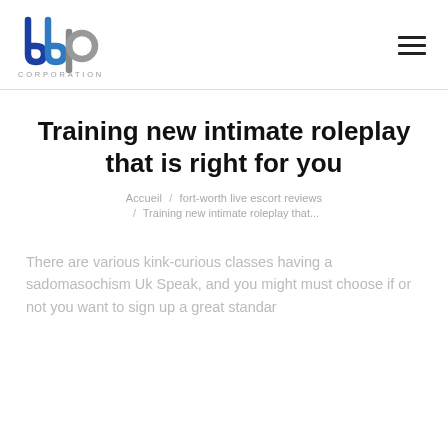[Figure (logo): BBP Corporation logo — stylized lowercase 'bbp' letters in blue and grey, with 'CORPORATION' text below]
Training new intimate roleplay that is right for you
Accueil / fort-worth live escort reviews / Training new intimate roleplay that...
There are various kink-curious classes having a sadomasochism Uk Speak, and you might must choose if or not you want to sign up a great standar...